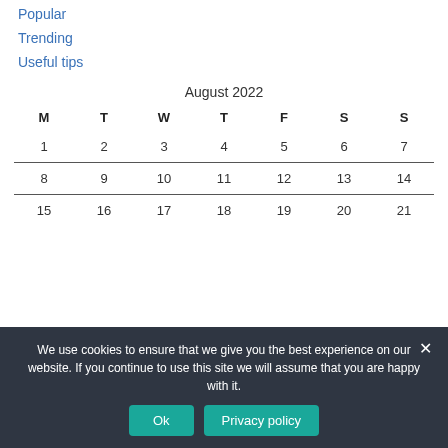Popular
Trending
Useful tips
| M | T | W | T | F | S | S |
| --- | --- | --- | --- | --- | --- | --- |
| 1 | 2 | 3 | 4 | 5 | 6 | 7 |
| 8 | 9 | 10 | 11 | 12 | 13 | 14 |
| 15 | 16 | 17 | 18 | 19 | 20 | 21 |
We use cookies to ensure that we give you the best experience on our website. If you continue to use this site we will assume that you are happy with it.